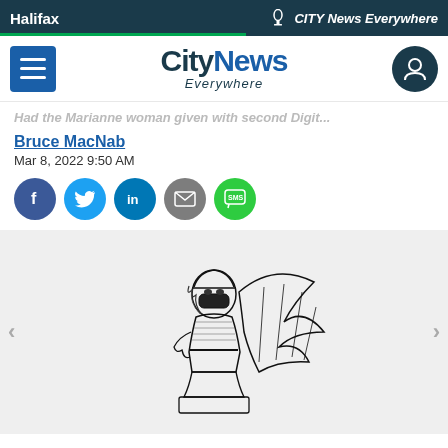Halifax | CITY News Everywhere
[Figure (logo): CityNews Everywhere logo with hamburger menu and user icon]
Had the Marianne woman given with second Digit...
Bruce MacNab
Mar 8, 2022 9:50 AM
[Figure (illustration): Black and white ink illustration of a winged angel-like figure wearing a mask, sitting on a pedestal and smoking]